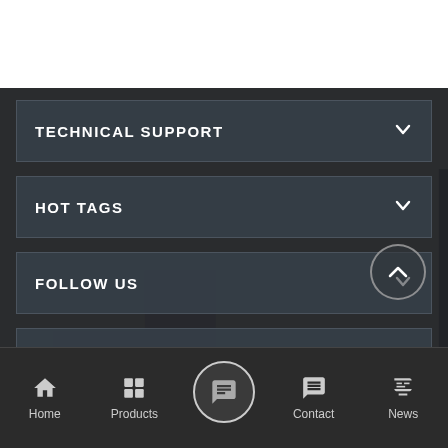[Figure (screenshot): Top white header area of a website]
[Figure (photo): Dark city skyline background photo with brownish-dark overlay]
TECHNICAL SUPPORT
HOT TAGS
FOLLOW US
SUBSCRIBE
[Figure (infographic): Mobile website bottom navigation bar with Home, Products, Chat (center circle), Contact, and News icons]
Home
Products
Contact
News